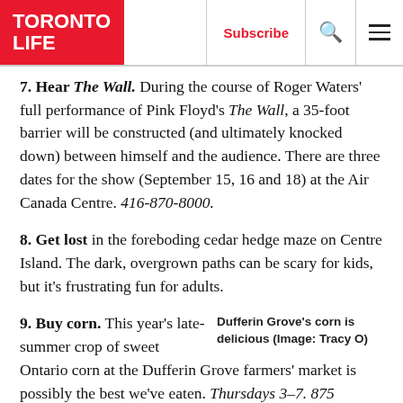TORONTO LIFE | Subscribe
7. Hear The Wall. During the course of Roger Waters' full performance of Pink Floyd's The Wall, a 35-foot barrier will be constructed (and ultimately knocked down) between himself and the audience. There are three dates for the show (September 15, 16 and 18) at the Air Canada Centre. 416-870-8000.
8. Get lost in the foreboding cedar hedge maze on Centre Island. The dark, overgrown paths can be scary for kids, but it's frustrating fun for adults.
Dufferin Grove's corn is delicious (Image: Tracy O)
9. Buy corn. This year's late-summer crop of sweet Ontario corn at the Dufferin Grove farmers' market is possibly the best we've eaten. Thursdays 3–7. 875 Dufferin St.